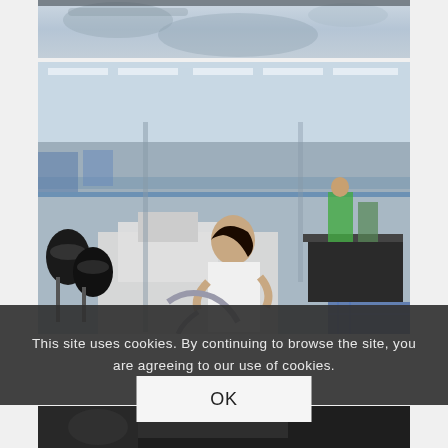[Figure (photo): Top portion of a partially cropped image, appears to be a close-up with blurred metallic elements against a light grey/blue background.]
[Figure (photo): Large factory floor photograph showing a textile/garment manufacturing facility. Workers are seated at sewing machines in long rows. A woman in a white coat is prominently visible in the foreground working on industrial sewing/embroidery machinery. Black thread spools are visible on the left. The factory is brightly lit with fluorescent overhead lights.]
This site uses cookies. By continuing to browse the site, you are agreeing to our use of cookies.
OK
[Figure (photo): Bottom partial image, dark/shadowed factory scene, partially visible at the bottom of the page.]